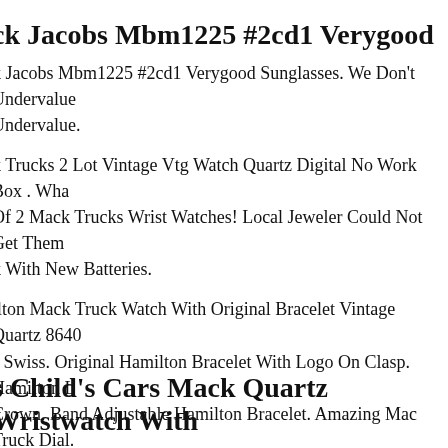ck Jacobs Mbm1225 #2cd1 Verygood
k Jacobs Mbm1225 #2cd1 Verygood Sunglasses. We Don't Undervalue. Undervalue.
k Trucks 2 Lot Vintage Vtg Watch Quartz Digital No Work Box . Wha Of 2 Mack Trucks Wrist Watches! Local Jeweler Could Not Get Them k With New Batteries.
ilton Mack Truck Watch With Original Bracelet Vintage Quartz 8640 s Swiss. Original Hamilton Bracelet With Logo On Clasp. Hamilton L Crown. Band Adjustable Hamilton Bracelet. Amazing Mac Truck Dial.
k Trucks Vintage Vtg Watch Quartz Digital Works New Battery With t -mack Trucks Wrist Watch! Works With New Battery. Pics Are Of Ac (s)!
s Child's Cars Mack Quartz Wristwatch With